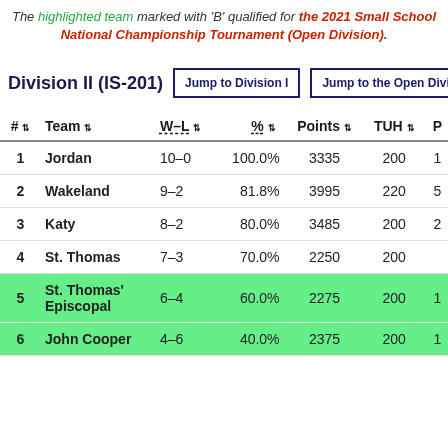The highlighted team marked with 'B' qualified for the 2021 Small School National Championship Tournament (Open Division).
Division II (IS-201)
| # | Team | W–L | % | Points | TUH | P |
| --- | --- | --- | --- | --- | --- | --- |
| 1 | Jordan | 10–0 | 100.0% | 3335 | 200 | 1 |
| 2 | Wakeland | 9–2 | 81.8% | 3995 | 220 | 5 |
| 3 | Katy | 8–2 | 80.0% | 3485 | 200 | 2 |
| 4 | St. Thomas | 7–3 | 70.0% | 2250 | 200 |  |
| 5 | St. Thomas' Episcopal | 6–4 | 60.0% | 2275 | 200 | 1 |
| 6 | John Cooper | 4–6 | 40.0% | 2375 | 200 | 1 |